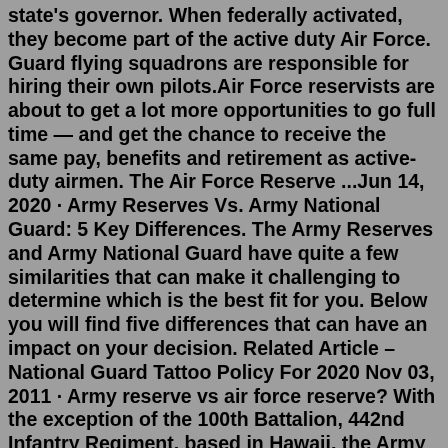state's governor. When federally activated, they become part of the active duty Air Force. Guard flying squadrons are responsible for hiring their own pilots.Air Force reservists are about to get a lot more opportunities to go full time — and get the chance to receive the same pay, benefits and retirement as active-duty airmen. The Air Force Reserve ...Jun 14, 2020 · Army Reserves Vs. Army National Guard: 5 Key Differences. The Army Reserves and Army National Guard have quite a few similarities that can make it challenging to determine which is the best fit for you. Below you will find five differences that can have an impact on your decision. Related Article – National Guard Tattoo Policy For 2020 Nov 03, 2011 · Army reserve vs air force reserve? With the exception of the 100th Battalion, 442nd Infantry Regiment, based in Hawaii, the Army Reserve has no combat arms, and is a support force in its entirety. The Air Guard has 7% and 6% fewer officers, respectively, than the Air Force Reserve and the active-duty Air Force, Repp said. Officers comprise 24 percent of the